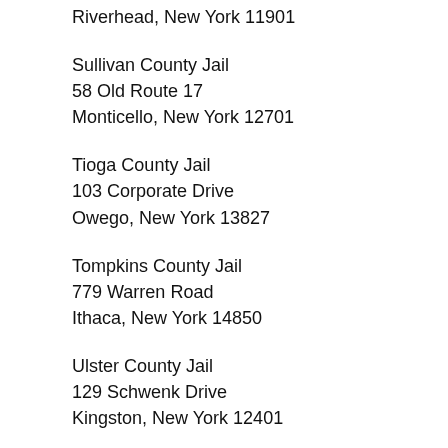Riverhead, New York 11901
Sullivan County Jail
58 Old Route 17
Monticello, New York 12701
Tioga County Jail
103 Corporate Drive
Owego, New York 13827
Tompkins County Jail
779 Warren Road
Ithaca, New York 14850
Ulster County Jail
129 Schwenk Drive
Kingston, New York 12401
Warren County Jail
1400 State Route 9
Lake George, New York 12845
Washington County Jail
399 Broadway